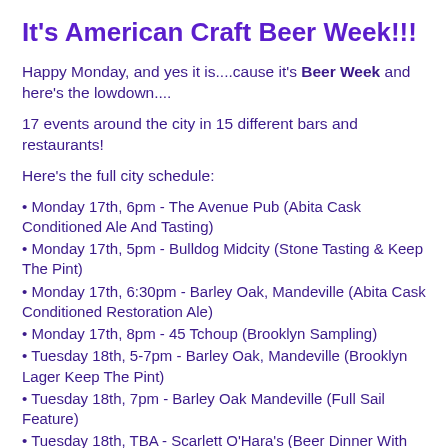It's American Craft Beer Week!!!
Happy Monday, and yes it is....cause it's Beer Week and here's the lowdown....
17 events around the city in 15 different bars and restaurants!
Here's the full city schedule:
• Monday 17th, 6pm - The Avenue Pub (Abita Cask Conditioned Ale And Tasting)
• Monday 17th, 5pm - Bulldog Midcity (Stone Tasting & Keep The Pint)
• Monday 17th, 6:30pm - Barley Oak, Mandeville (Abita Cask Conditioned Restoration Ale)
• Monday 17th, 8pm - 45 Tchoup (Brooklyn Sampling)
• Tuesday 18th, 5-7pm - Barley Oak, Mandeville (Brooklyn Lager Keep The Pint)
• Tuesday 18th, 7pm - Barley Oak Mandeville (Full Sail Feature)
• Tuesday 18th, TBA - Scarlett O'Hara's (Beer Dinner With NOLA Brewer)